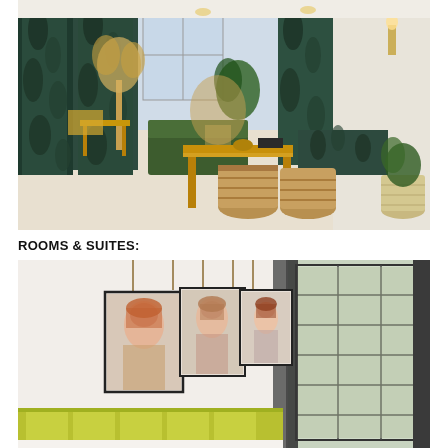[Figure (photo): Interior of a hotel lobby or lounge with tropical botanical print curtains, rattan furniture, green sofas, wicker baskets on the floor, and tropical plants. Bamboo console table in center, warm wood floors, pendant lights.]
ROOMS & SUITES:
[Figure (photo): Hotel room showing three portrait paintings hanging by strings on a white wall, large windows with dark grey curtains and venetian blinds, and a chartreuse/lime green upholstered headboard visible at the bottom.]